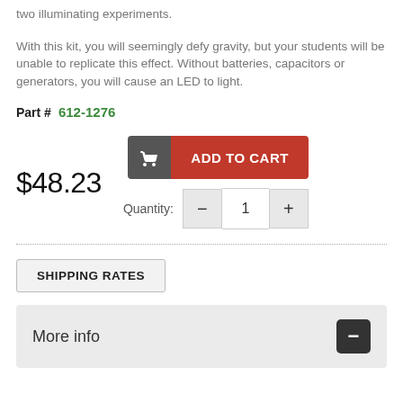two illuminating experiments.
With this kit, you will seemingly defy gravity, but your students will be unable to replicate this effect. Without batteries, capacitors or generators, you will cause an LED to light.
Part #  612-1276
$48.23
ADD TO CART
Quantity: 1
SHIPPING RATES
More info